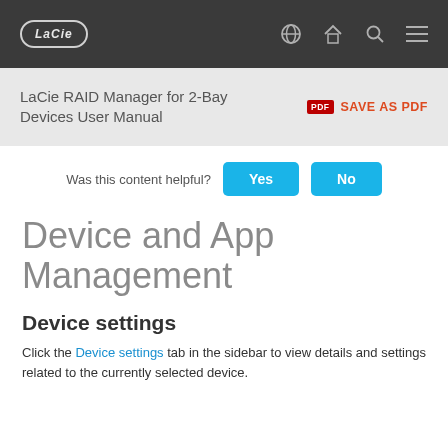LaCie [logo] — navigation bar with globe, home, search, menu icons
LaCie RAID Manager for 2-Bay Devices User Manual
SAVE AS PDF
Was this content helpful?
Device and App Management
Device settings
Click the Device settings tab in the sidebar to view details and settings related to the currently selected device.